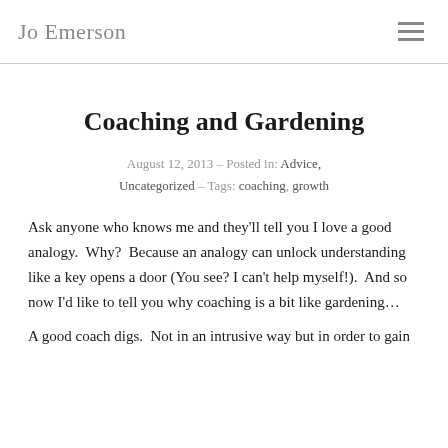Jo Emerson
Coaching and Gardening
August 12, 2013 – Posted in: Advice, Uncategorized – Tags: coaching, growth
Ask anyone who knows me and they'll tell you I love a good analogy.  Why?  Because an analogy can unlock understanding like a key opens a door (You see? I can't help myself!).  And so now I'd like to tell you why coaching is a bit like gardening...
A good coach digs.  Not in an intrusive way but in order to gain